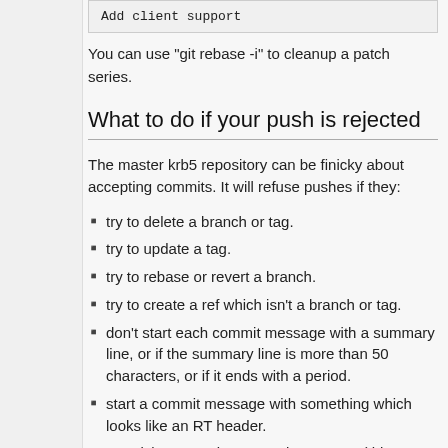[Figure (screenshot): Code block showing 'Add client support' in monospace font on grey background]
You can use "git rebase -i" to cleanup a patch series.
What to do if your push is rejected
The master krb5 repository can be finicky about accepting commits. It will refuse pushes if they:
try to delete a branch or tag.
try to update a tag.
try to rebase or revert a branch.
try to create a ref which isn't a branch or tag.
don't start each commit message with a summary line, or if the summary line is more than 50 characters, or if it ends with a period.
start a commit message with something which looks like an RT header.
put "ticket: new" in a commit message (this